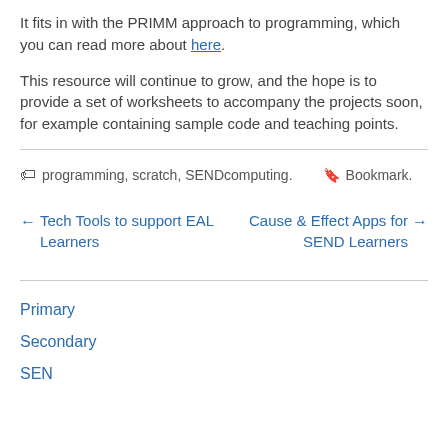It fits in with the PRIMM approach to programming, which you can read more about here.
This resource will continue to grow, and the hope is to provide a set of worksheets to accompany the projects soon, for example containing sample code and teaching points.
🏷 programming, scratch, SENDcomputing.   🔖 Bookmark.
← Tech Tools to support EAL Learners
Cause & Effect Apps for SEND Learners →
Primary
Secondary
SEN